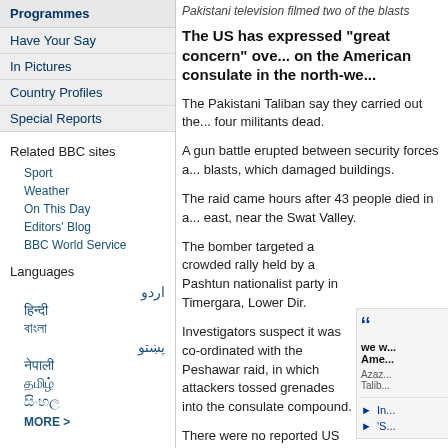Programmes
Have Your Say
In Pictures
Country Profiles
Special Reports
Related BBC sites
Sport
Weather
On This Day
Editors' Blog
BBC World Service
Languages
اردو
हिन्दी
বাংলা
پښتو
नेपाली
தமிழ்
සිංහල
MORE >
Pakistani television filmed two of the blasts
The US has expressed "great concern" over... on the American consulate in the north-we...
The Pakistani Taliban say they carried out the... four militants dead.
A gun battle erupted between security forces a... blasts, which damaged buildings.
The raid came hours after 43 people died in a... east, near the Swat Valley.
The bomber targeted a crowded rally held by a Pashtun nationalist party in Timergara, Lower Dir.
Investigators suspect it was co-ordinated with the Peshawar raid, in which attackers tossed grenades into the consulate compound.
There were no reported US casualties...
we w... Ame...
Azaz... Talib...